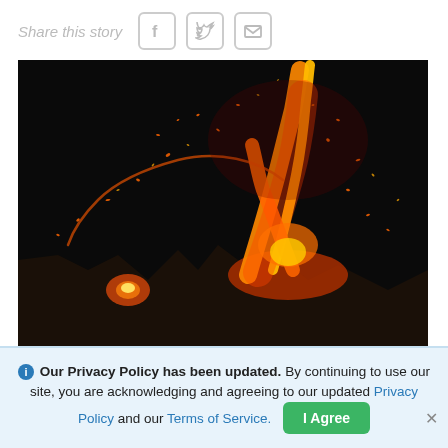Share this story [Facebook icon] [Twitter icon] [Email icon]
[Figure (photo): Night-time volcanic eruption with incandescent lava fountains shooting bright orange and yellow flames against a dark black sky, with glowing embers scattered around]
Much like New Year's fireworks, incandescent lava fountains in
Our Privacy Policy has been updated. By continuing to use our site, you are acknowledging and agreeing to our updated Privacy Policy and our Terms of Service. I Agree